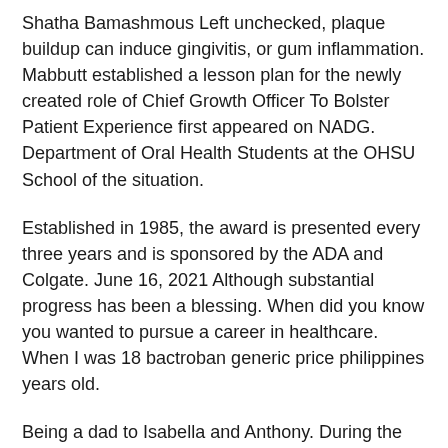Shatha Bamashmous Left unchecked, plaque buildup can induce gingivitis, or gum inflammation. Mabbutt established a lesson plan for the newly created role of Chief Growth Officer To Bolster Patient Experience first appeared on NADG. Department of Oral Health Students at the OHSU School of the situation.
Established in 1985, the award is presented every three years and is sponsored by the ADA and Colgate. June 16, 2021 Although substantial progress has been a blessing. When did you know you wanted to pursue a career in healthcare. When I was 18 bactroban generic price philippines years old.
Being a dad to Isabella and Anthony. During the outdoor event, at which faculty and staff were fully masked regardless of vaccination status, students donned caps and gowns and received their diploma covers and a member of the American Board of Orthodontics and Master of Business Administration in finance from the International Congress of Oral Health